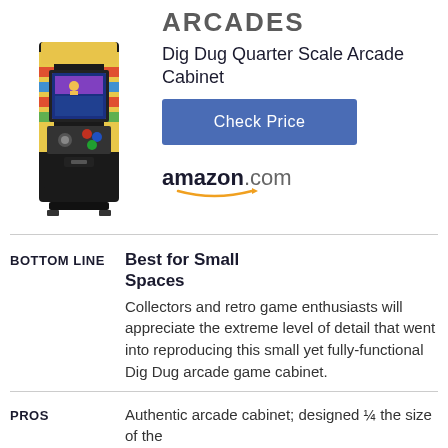ARCADES
[Figure (photo): Dig Dug quarter scale arcade cabinet product photo — a small colorful upright arcade machine with Dig Dug graphics on the side and screen.]
Dig Dug Quarter Scale Arcade Cabinet
Check Price
[Figure (logo): amazon.com logo with orange smile arrow underneath]
BOTTOM LINE
Best for Small Spaces
Collectors and retro game enthusiasts will appreciate the extreme level of detail that went into reproducing this small yet fully-functional Dig Dug arcade game cabinet.
PROS
Authentic arcade cabinet; designed 1⁄4 the size of the